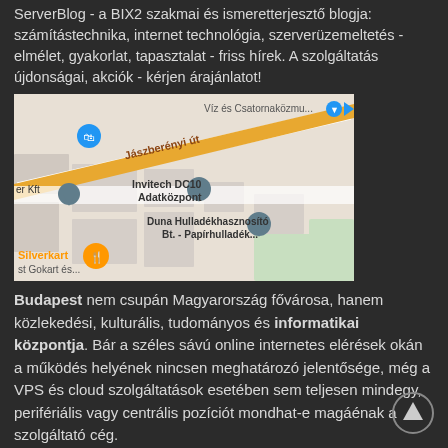ServerBlog - a BIX2 szakmai és ismeretterjesztő blogja: számítástechnika, internet technológia, szerverüzemeltetés - elmélet, gyakorlat, tapasztalat - friss hírek. A szolgáltatás újdonságai, akciók - kérjen árajánlatot!
[Figure (map): Google Maps screenshot showing Jászberényi út area with Invitech DC10 Adatközpont, Duna Hulladékhasznosító Bt. - Papírhulladék..., Silverkart, st Gokart és... markers visible]
Budapest nem csupán Magyarország fővárosa, hanem közlekedési, kulturális, tudományos és informatikai központja. Bár a széles sávú online internetes elérések okán a működés helyének nincsen meghatározó jelentősége, még a VPS és cloud szolgáltatások esetében sem teljesen mindegy, perifériális vagy centrális pozíciót mondhat-e magáénak a szolgáltató cég.
Technikai háttér: tömeges sms küldés, windows 10 tapasztalatok, Win10 licensz. Budapest Internet Exchange adatközpont - szervergép elhelyezés